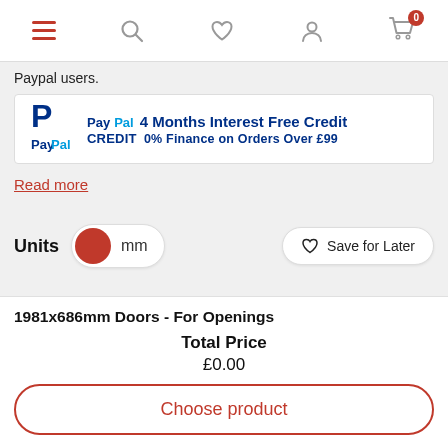Navigation bar with menu, search, wishlist, account, and cart (0) icons
Paypal users.
[Figure (other): PayPal Credit banner: 4 Months Interest Free Credit, 0% Finance on Orders Over £99]
Read more
Units   mm   Save for Later
1981x686mm Doors - For Openings
Total Price
£0.00
Choose product